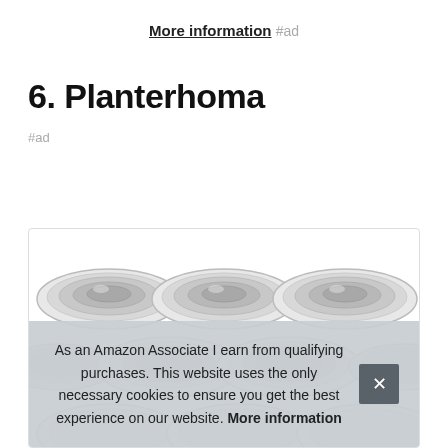More information #ad
6. Planterhoma
#ad
[Figure (photo): Three silver/stainless steel planter saucers/plates arranged in rows inside a bordered product box]
As an Amazon Associate I earn from qualifying purchases. This website uses the only necessary cookies to ensure you get the best experience on our website. More information